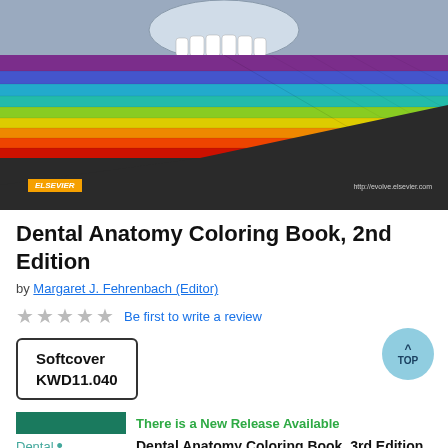[Figure (illustration): Book cover of Dental Anatomy Coloring Book 2nd Edition showing a stylized illustration with teeth/skull at top, rainbow-colored diagonal grid stripes in the middle, dark floor area, Elsevier logo badge at bottom left, and evolve.elsevier.com URL at bottom right.]
Dental Anatomy Coloring Book, 2nd Edition
by Margaret J. Fehrenbach (Editor)
★★★★★  Be first to write a review
Softcover
KWD11.040
There is a New Release Available
Dental Anatomy Coloring Book, 3rd Edition